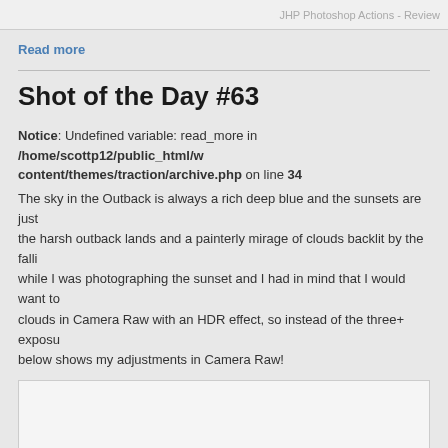JHP Photoshop Actions - Review
Read more
Shot of the Day #63
Notice: Undefined variable: read_more in /home/scottp12/public_html/wp-content/themes/traction/archive.php on line 34
The sky in the Outback is always a rich deep blue and the sunsets are just the harsh outback lands and a painterly mirage of clouds backlit by the falling while I was photographing the sunset and I had in mind that I would want to clouds in Camera Raw with an HDR effect, so instead of the three+ exposu below shows my adjustments in Camera Raw!
[Figure (screenshot): White/light grey empty image box at bottom of page]